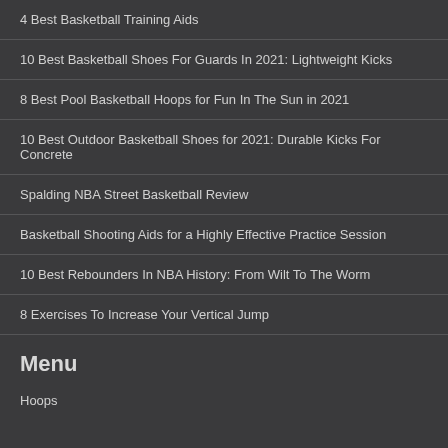4 Best Basketball Training Aids
10 Best Basketball Shoes For Guards In 2021: Lightweight Kicks
8 Best Pool Basketball Hoops for Fun In The Sun in 2021
10 Best Outdoor Basketball Shoes for 2021: Durable Kicks For Concrete
Spalding NBA Street Basketball Review
Basketball Shooting Aids for a Highly Effective Practice Session
10 Best Rebounders In NBA History: From Wilt To The Worm
8 Exercises To Increase Your Vertical Jump
Menu
Hoops